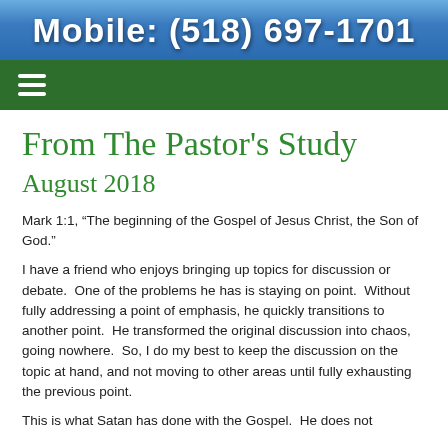Mobile: (518) 697-1701
From The Pastor's Study
August 2018
Mark 1:1, “The beginning of the Gospel of Jesus Christ, the Son of God.”
I have a friend who enjoys bringing up topics for discussion or debate.  One of the problems he has is staying on point.  Without fully addressing a point of emphasis, he quickly transitions to another point.  He transformed the original discussion into chaos, going nowhere.  So, I do my best to keep the discussion on the topic at hand, and not moving to other areas until fully exhausting the previous point.
This is what Satan has done with the Gospel.  He does not